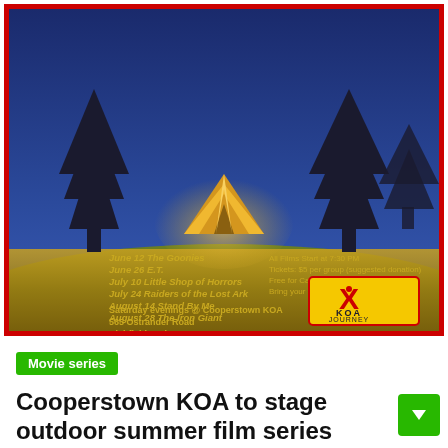[Figure (illustration): KOA outdoor movie series poster with red border. Blue night sky background with silhouetted pine trees and a glowing yellow tent. Left column lists movie dates: June 12 The Goonies, June 26 E.T., July 10 Little Shop of Horrors, July 24 Raiders of the Lost Ark, August 14 Stand By Me, August 28 The Iron Giant. Right column: All Films Start at 7:30 PM, Tickets: $5 per group (suggested donation), Free for Campground Guests, Bring your own camp chairs & blankets. Bottom: Saturday evenings @ Cooperstown KOA, 565 Ostrander Road, Richfield Springs. KOA Journey logo on lower right.]
Movie series
Cooperstown KOA to stage outdoor summer film series